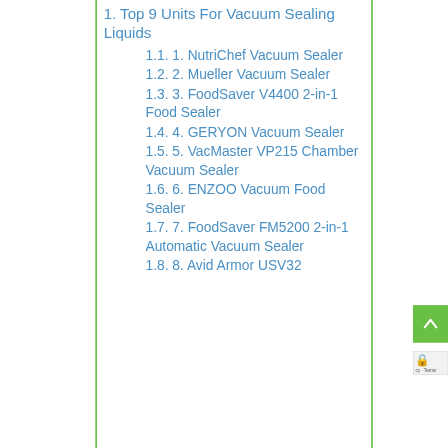1. Top 9 Units For Vacuum Sealing Liquids
1.1. 1. NutriChef Vacuum Sealer
1.2. 2. Mueller Vacuum Sealer
1.3. 3. FoodSaver V4400 2-in-1 Food Sealer
1.4. 4. GERYON Vacuum Sealer
1.5. 5. VacMaster VP215 Chamber Vacuum Sealer
1.6. 6. ENZOO Vacuum Food Sealer
1.7. 7. FoodSaver FM5200 2-in-1 Automatic Vacuum Sealer
1.8. 8. Avid Armor USV32